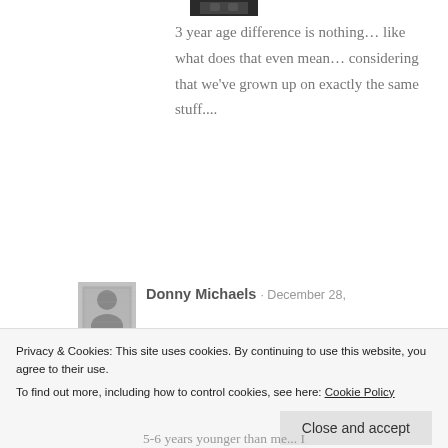[Figure (photo): Partial avatar/profile photo at top center, dark tones]
3 year age difference is nothing… like what does that even mean… considering that we've grown up on exactly the same stuff....
[Figure (photo): Profile photo of Donny Michaels, person with light hair]
Donny Michaels · December 28,
Privacy & Cookies: This site uses cookies. By continuing to use this website, you agree to their use.
To find out more, including how to control cookies, see here: Cookie Policy
Close and accept
5-6 years younger than me... I